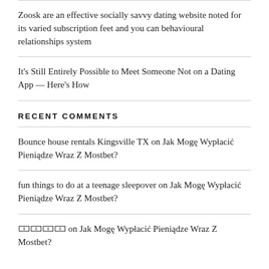Zoosk are an effective socially savvy dating website noted for its varied subscription feet and you can behavioural relationships system
It's Still Entirely Possible to Meet Someone Not on a Dating App — Here's How
RECENT COMMENTS
Bounce house rentals Kingsville TX on Jak Mogę Wypłacić Pieniądze Wraz Z Mostbet?
fun things to do at a teenage sleepover on Jak Mogę Wypłacić Pieniądze Wraz Z Mostbet?
🀱🀱🀱🀱 on Jak Mogę Wypłacić Pieniądze Wraz Z Mostbet?